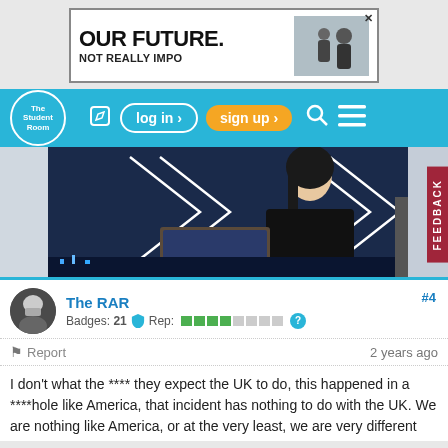[Figure (screenshot): Advertisement banner with text 'OUR FUTURE. NOT REALLY IMPO' and an image of two figures on right side with close button X]
[Figure (screenshot): The Student Room navigation bar with logo, edit icon, log in button, sign up button, search icon, and menu icon]
[Figure (photo): Hero image showing a young woman with long black hair wearing a black top, sitting at a laptop, with geometric diamond shapes in background on a blue screen]
The RAR
Badges: 21  Rep:  ?
#4
Report  2 years ago
I don't what the **** they expect the UK to do, this happened in a ****hole like America, that incident has nothing to do with the UK. We are nothing like America, or at the very least, we are very different